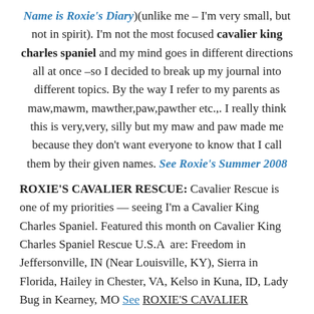Name is Roxie's Diary)(unlike me – I'm very small, but not in spirit). I'm not the most focused cavalier king charles spaniel and my mind goes in different directions all at once –so I decided to break up my journal into different topics. By the way I refer to my parents as maw,mawm, mawther,paw,pawther etc.,. I really think this is very,very, silly but my maw and paw made me because they don't want everyone to know that I call them by their given names. See Roxie's Summer 2008
ROXIE'S CAVALIER RESCUE: Cavalier Rescue is one of my priorities — seeing I'm a Cavalier King Charles Spaniel. Featured this month on Cavalier King Charles Spaniel Rescue U.S.A  are: Freedom in Jeffersonville, IN (Near Louisville, KY), Sierra in Florida, Hailey in Chester, VA, Kelso in Kuna, ID, Lady Bug in Kearney, MO See ROXIE'S CAVALIER RESCUE for pictures and links